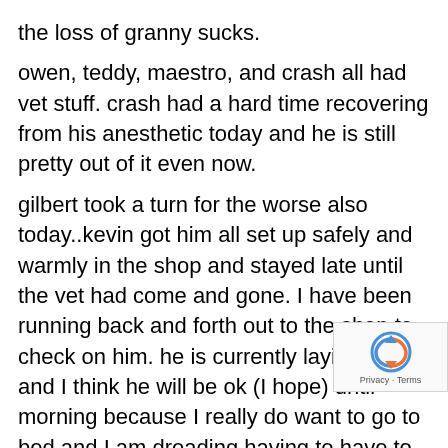the loss of granny sucks.
owen, teddy, maestro, and crash all had vet stuff. crash had a hard time recovering from his anesthetic today and he is still pretty out of it even now.
gilbert took a turn for the worse also today..kevin got him all set up safely and warmly in the shop and stayed late until the vet had come and gone. I have been running back and forth out to the shop to check on him. he is currently laying down and I think he will be ok (I hope) until morning because I really do want to go to bed and I am dreading having to have to go back out into freaking freezing windy land over and over again.
all of the staff ended up working late today..kevin [and] dionne busy with gilbert, renee was grabbing the c[ritters, the] guys, getting them home and settled and then waiting til [morning]